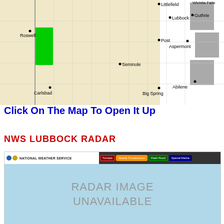[Figure (map): NWS Lubbock forecast area map showing cities including Roswell, Littlefield, Lubbock, Guthrie, Wichita Falls, Post, Aspermont, Seminole, Big Spring, Carlsbad, Abilene. A green highlighted area near Roswell indicates a weather alert. Eastern portions of Texas shown in gray (outside service area). Background is tan/beige for land area.]
Click On The Map To Open It Up
NWS LUBBOCK RADAR
[Figure (screenshot): National Weather Service radar interface screenshot showing NWS logo with blue and gold circles, navigation bar with alert buttons: Tornado (red), Severe Thunderstorm (orange), Flash Flood (green), Special Marine (blue). Main radar display area shows light blue background with text 'RADAR IMAGE UNAVAILABLE' in large gray letters.]